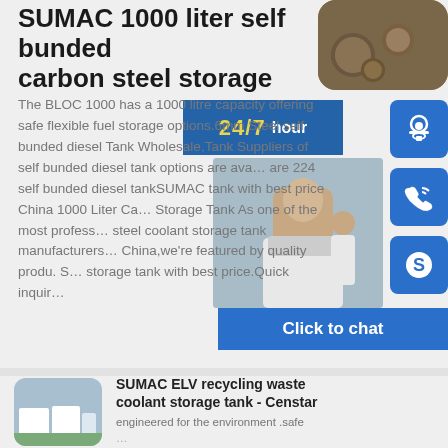SUMAC 1000 liter self bunded carbon steel storage
[Figure (photo): Aerial view of large circular steel storage tanks]
[Figure (infographic): 24/7 hour support banner with blue background]
[Figure (photo): Customer service representative with headset smiling]
[Figure (infographic): Blue headset icon button]
[Figure (infographic): Blue phone/call icon button]
[Figure (infographic): Blue Skype icon button]
[Figure (infographic): Click to chat blue banner]
The BLOC 1000 has a 1000 litre capacity offering safe flexible fuel storage options.6mm Steel self bunded diesel Tank Wholesale,Tank Suppliers of self bunded diesel tank options are available are 224 self bunded diesel tankSUMAC tank with best price China 1000 Liter Carbon Storage Tank As one of the most professional steel coolant storage tank manufacturers in China,we're featured by quality produ. storage tank with best price.Quick inquir
[Figure (photo): Large white industrial storage tanks in a field]
SUMAC ELV recycling waste coolant storage tank - Censtar
engineered for the environment .safe